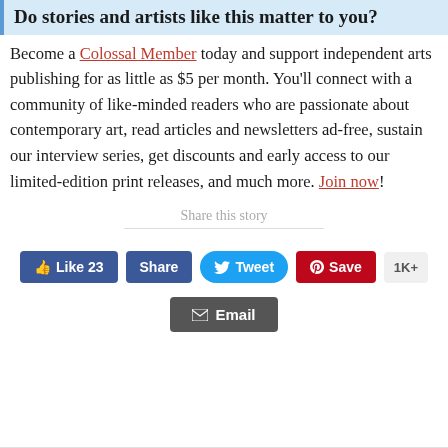Do stories and artists like this matter to you?
Become a Colossal Member today and support independent arts publishing for as little as $5 per month. You’ll connect with a community of like-minded readers who are passionate about contemporary art, read articles and newsletters ad-free, sustain our interview series, get discounts and early access to our limited-edition print releases, and much more. Join now!
Share this story
[Figure (other): Social share buttons: Like 23 (Facebook), Share (Facebook), Tweet (Twitter), Save (Pinterest) with 1K+ count, and Email button]